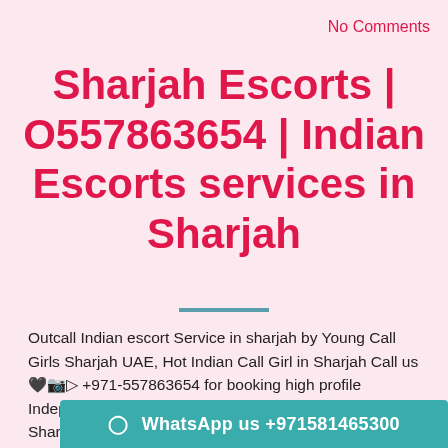No Comments
Sharjah Escorts | O557863654 | Indian Escorts services in Sharjah
Outcall Indian escort Service in sharjah by Young Call Girls Sharjah UAE, Hot Indian Call Girl in Sharjah Call us 🖤📷▷ +971-557863654 for booking high profile Independent Indian Escort in Sharjah. We provide Sharjah Independent escort, Sharj... and they know all the things that they need to do with you.
WhatsApp us +971581465300